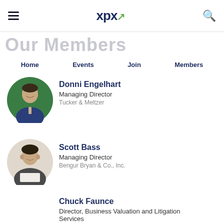xpx
Our Members
Home | Events | Join | Members
Donni Engelhart
Managing Director
Tucker & Meltzer
[Figure (photo): Circular headshot photo of Donni Engelhart, a smiling man in a suit]
Scott Bass
Managing Director
Bengur Bryan & Co., Inc.
[Figure (photo): Circular headshot photo of Scott Bass, a man in business attire]
Chuck Faunce
Director, Business Valuation and Litigation Services